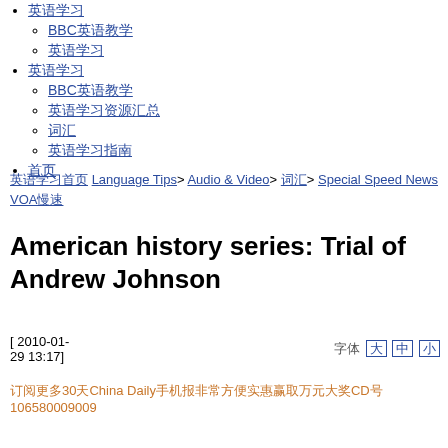BBC中文网
英语学习
英语学习
BBC英语教学
英语学习资源汇总
词汇
英语学习指南
首页
英语学习首页 Language Tips> Audio & Video> 词汇> Special Speed News VOA慢速
American history series: Trial of Andrew Johnson
[ 2010-01-29 13:17]
字体 [大] [中] [小]
订阅更多30天China Daily手机报非常方便实惠赢取万元大奖CD号106580009009